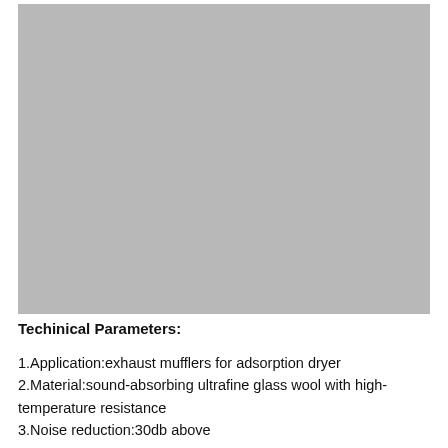[Figure (photo): A product photo showing an exhaust muffler component against a light gray background.]
Techinical Parameters:
1.Application:exhaust mufflers for adsorption dryer
2.Material:sound-absorbing ultrafine glass wool with high-temperature resistance
3.Noise reduction:30db above